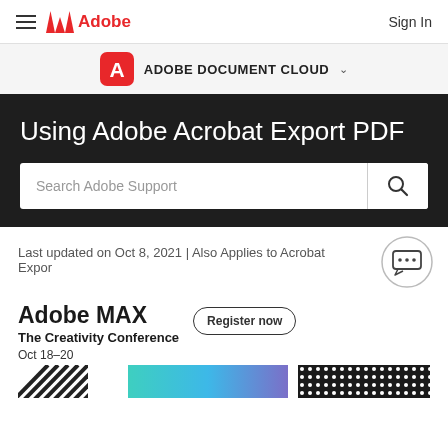≡  Adobe  Sign In
ADOBE DOCUMENT CLOUD
Using Adobe Acrobat Export PDF
Search Adobe Support
Last updated on Oct 8, 2021 | Also Applies to Acrobat Export
Adobe MAX The Creativity Conference Oct 18–20
Register now